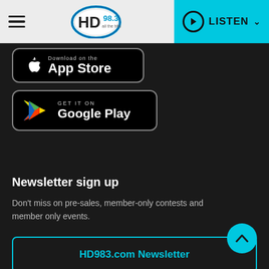HD 98.3 — LISTEN
[Figure (screenshot): App Store download button (black rounded rectangle with Apple logo and 'App Store' text)]
[Figure (screenshot): Google Play download button (black rounded rectangle with Google Play triangle logo and 'GET IT ON Google Play' text)]
Newsletter sign up
Don't miss on pre-sales, member-only contests and member only events.
HD983.com Newsletter